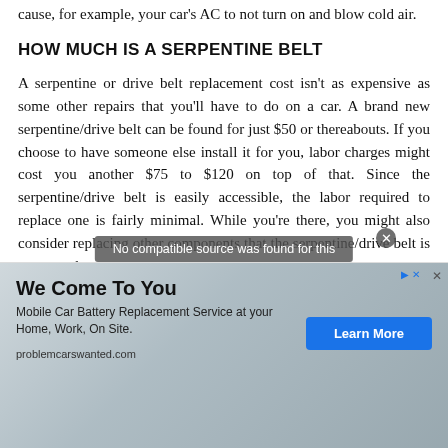cause, for example, your car's AC to not turn on and blow cold air.
HOW MUCH IS A SERPENTINE BELT
A serpentine or drive belt replacement cost isn't as expensive as some other repairs that you'll have to do on a car. A brand new serpentine/drive belt can be found for just $50 or thereabouts. If you choose to have someone else install it for you, labor charges might cost you another $75 to $120 on top of that. Since the serpentine/drive belt is easily accessible, the labor required to replace one is fairly minimal. While you're there, you might also consider replacing other components that the serpentine/drive belt is connected
[Figure (screenshot): Advertisement overlay: 'We Come To You - Mobile Car Battery Replacement Service at your Home, Work, On Site. problemcarswanted.com' with a Learn More button, and a video notice 'No compatible source was found for this']